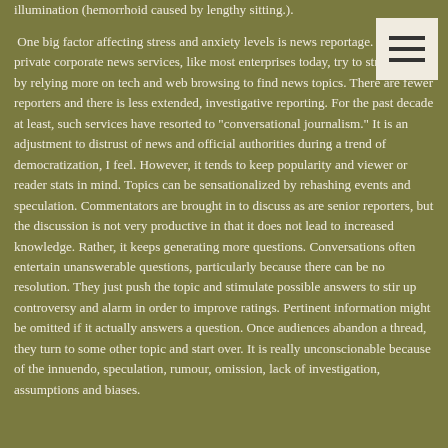illumination (hemorrhoid caused by lengthy sitting.).
One big factor affecting stress and anxiety levels is news reportage. State and private corporate news services, like most enterprises today, try to streamline by relying more on tech and web browsing to find news topics. There are fewer reporters and there is less extended, investigative reporting. For the past decade at least, such services have resorted to "conversational journalism." It is an adjustment to distrust of news and official authorities during a trend of democratization, I feel. However, it tends to keep popularity and viewer or reader stats in mind. Topics can be sensationalized by rehashing events and speculation. Commentators are brought in to discuss as are senior reporters, but the discussion is not very productive in that it does not lead to increased knowledge. Rather, it keeps generating more questions. Conversations often entertain unanswerable questions, particularly because there can be no resolution. They just push the topic and stimulate possible answers to stir up controversy and alarm in order to improve ratings. Pertinent information might be omitted if it actually answers a question. Once audiences abandon a thread, they turn to some other topic and start over. It is really unconscionable because of the innuendo, speculation, rumour, omission, lack of investigation, assumptions and biases.